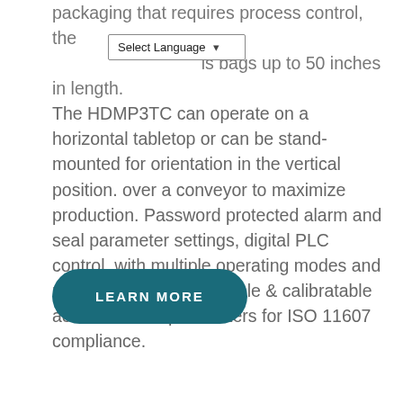packaging that requires process control, the HDMP3TC seals bags up to 50 inches in length. The HDMP3TC can operate on a horizontal tabletop or can be stand-mounted for orientation in the vertical position. over a conveyor to maximize production. Password protected alarm and seal parameter settings, digital PLC control, with multiple operating modes and recipe programs. Verifiable & calibratable across all seal parameters for ISO 11607 compliance.
LEARN MORE